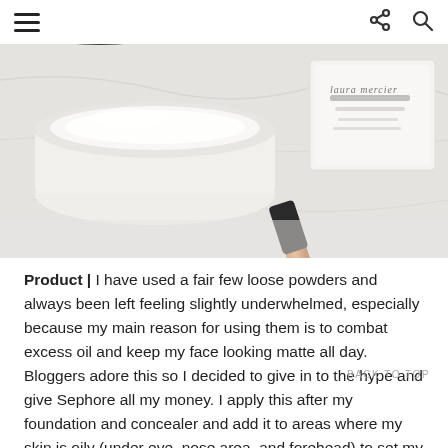Navigation header with hamburger menu, share icon, and search icon
[Figure (photo): Flat lay photo of Laura Mercier loose setting powder jar open, its box packaging, and a Real Techniques makeup brush with copper and black handle, all on a white cloth background]
Product | I have used a fair few loose powders and always been left feeling slightly underwhelmed, especially because my main reason for using them is to combat excess oil and keep my face looking matte all day. Bloggers adore this so I decided to give in to the hype and give Sephore all my money. I apply this after my foundation and concealer and add it to areas where my skin is oily (under eye, nose area, and forehead) to set my make up and give my skin a matte finish. The product is
BACK TO TOP